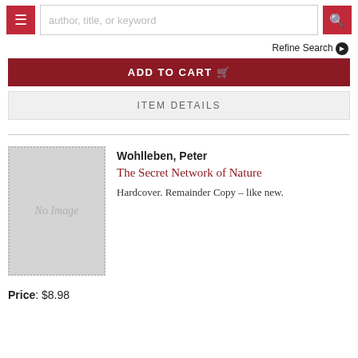author, title, or keyword
Refine Search
ADD TO CART
ITEM DETAILS
Wohlleben, Peter
The Secret Network of Nature
Hardcover. Remainder Copy - like new.
Price: $8.98